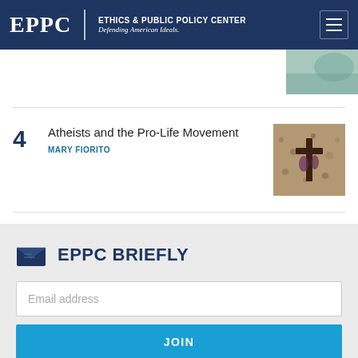EPPC | ETHICS & PUBLIC POLICY CENTER — Defending American Ideals.
[Figure (photo): Partial thumbnail image visible at top-right of page]
4 — Atheists and the Pro-Life Movement — MARY FIORITO
[Figure (photo): Cross or crucifix on gravelly ground, thumbnail for article]
EPPC BRIEFLY
Email address
JOIN